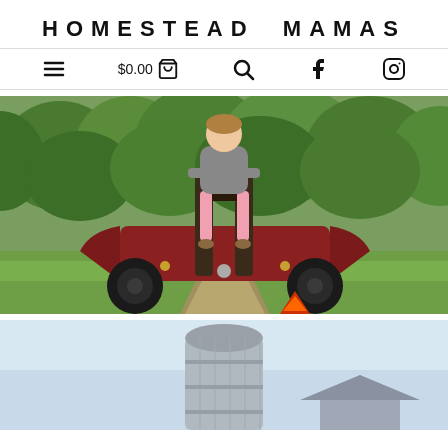HOMESTEAD MAMAS
≡  $0.00 🛍  🔍  Facebook  Instagram
[Figure (photo): A girl in a gray hoodie, denim shorts, and pink leggings sitting on top of an old red tractor in an orchard with green trees and a grassy lane in the background.]
[Figure (photo): A farm silo against a light blue sky, partially visible at the bottom of the page.]